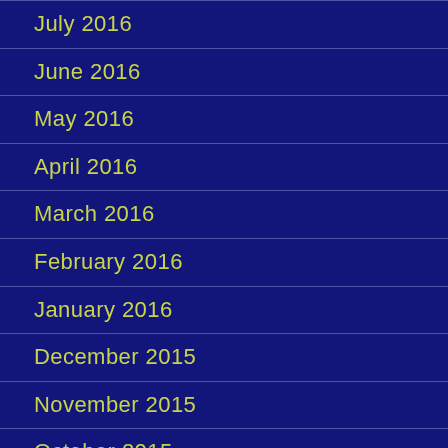July 2016
June 2016
May 2016
April 2016
March 2016
February 2016
January 2016
December 2015
November 2015
October 2015